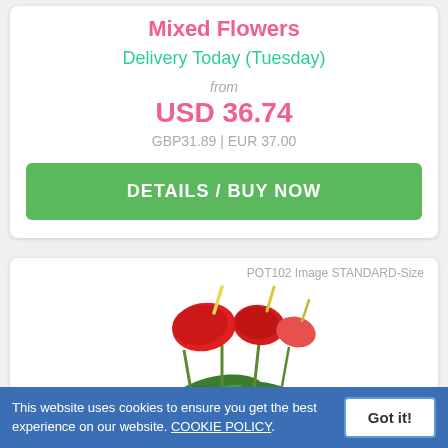Mixed Flowers
Delivery Today (Tuesday)
from
USD 36.74
GBP31.89 | EUR 37.00
DETAILS / BUY NOW
POT102 Image STANDARD-Size
[Figure (photo): Red anthurium plant with green leaves on white background]
This website uses cookies to ensure you get the best experience on our website. COOKIE POLICY.
Got it!